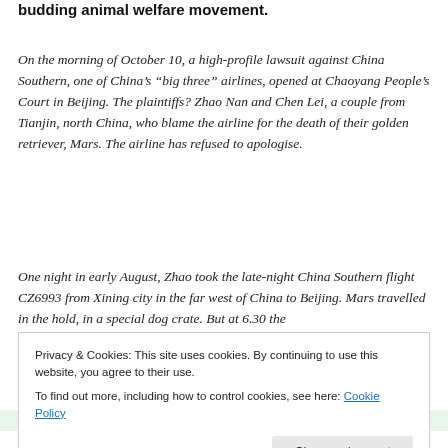budding animal welfare movement.
On the morning of October 10, a high-profile lawsuit against China Southern, one of China's “big three” airlines, opened at Chaoyang People’s Court in Beijing. The plaintiffs? Zhao Nan and Chen Lei, a couple from Tianjin, north China, who blame the airline for the death of their golden retriever, Mars. The airline has refused to apologise.
One night in early August, Zhao took the late-night China Southern flight CZ6993 from Xining city in the far west of China to Beijing. Mars travelled in the hold, in a special dog crate. But at 6.30 the
Privacy & Cookies: This site uses cookies. By continuing to use this website, you agree to their use.
To find out more, including how to control cookies, see here: Cookie Policy
around its mouth